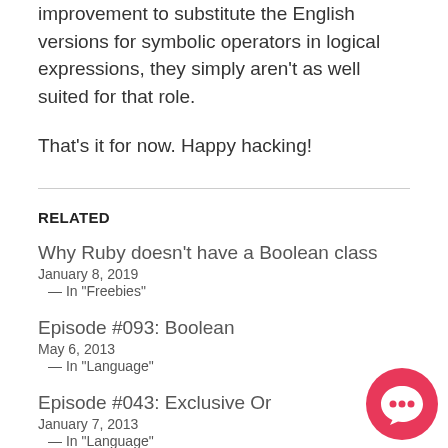improvement to substitute the English versions for symbolic operators in logical expressions, they simply aren't as well suited for that role.
That's it for now. Happy hacking!
RELATED
Why Ruby doesn't have a Boolean class
January 8, 2019
  — In "Freebies"
Episode #093: Boolean
May 6, 2013
  — In "Language"
Episode #043: Exclusive Or
January 7, 2013
  — In "Language"